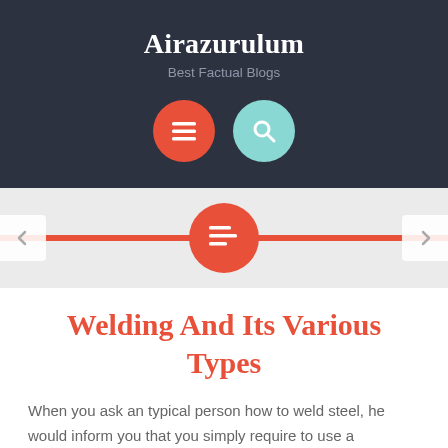Airazurulum
Best Factual Blogs
[Figure (infographic): Website header UI with dark background showing site name 'Airazurulum' and subtitle 'Best Factual Blogs', with two circular icon buttons (red menu button and teal search button), followed by a red horizontal bar with a red circle icon in the center and left/right navigation arrows on either side]
Welding And Its Various Types
When you ask an typical person how to weld steel, he would inform you that you simply require to use a